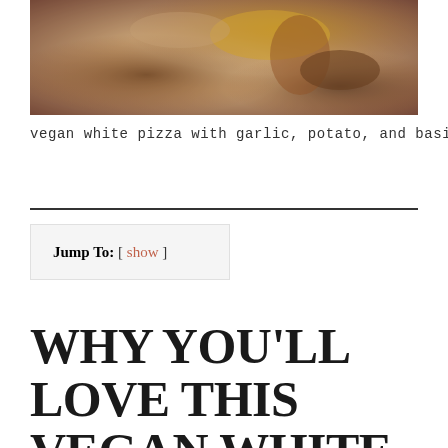[Figure (photo): Close-up photo of ingredients including what appears to be garlic and other items on a light surface, with warm brown and amber tones]
vegan white pizza with garlic, potato, and basil
Jump To: [ show ]
WHY YOU'LL LOVE THIS VEGAN WHITE PIZZA